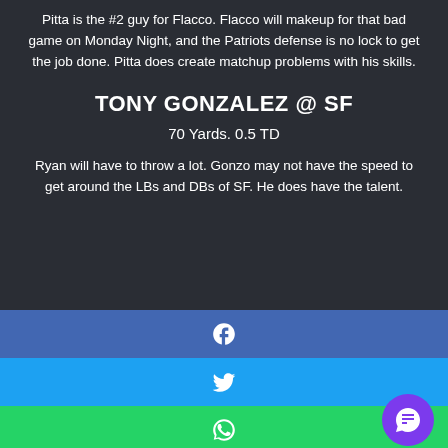Pitta is the #2 guy for Flacco.  Flacco will makeup for that bad game on Monday Night, and the Patriots defense is no lock to get the job done.  Pitta does create matchup problems with his skills.
TONY GONZALEZ @ SF
70 Yards. 0.5 TD
Ryan will have to throw a lot.  Gonzo may not have the speed to get around the LBs and DBs of SF.  He does have the talent.
[Figure (infographic): Social media share buttons: Facebook (blue), Twitter (light blue), WhatsApp (green), Telegram (dark blue), with a purple chat support circle button on the bottom right]